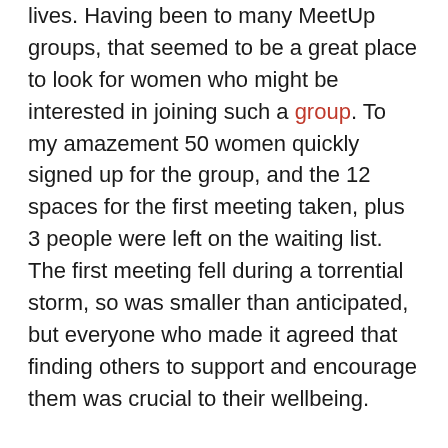lives. Having been to many MeetUp groups, that seemed to be a great place to look for women who might be interested in joining such a group. To my amazement 50 women quickly signed up for the group, and the 12 spaces for the first meeting taken, plus 3 people were left on the waiting list. The first meeting fell during a torrential storm, so was smaller than anticipated, but everyone who made it agreed that finding others to support and encourage them was crucial to their wellbeing.
Although finding a passion and turning it into a purpose – be it more income, social connections, or a completely new path – is an exciting process, it can also be one filled with self-doubt and worry. In out over-connected online, but under-connected offline world it is